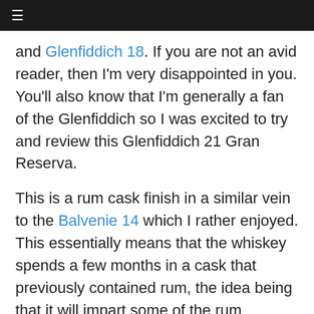≡
and Glenfiddich 18. If you are not an avid reader, then I'm very disappointed in you. You'll also know that I'm generally a fan of the Glenfiddich so I was excited to try and review this Glenfiddich 21 Gran Reserva.
This is a rum cask finish in a similar vein to the Balvenie 14 which I rather enjoyed. This essentially means that the whiskey spends a few months in a cask that previously contained rum, the idea being that it will impart some of the rum flavours from the barrel. It's an interesting idea but sometimes I just wonder if the whisky would have been